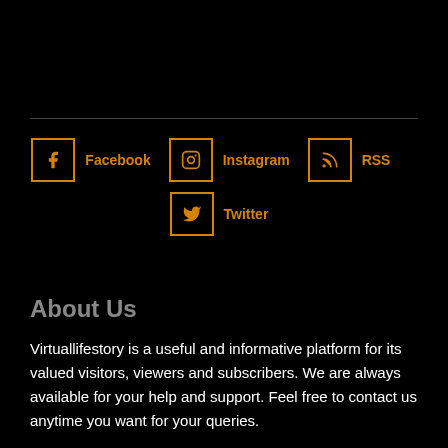[Figure (infographic): Social media links row: Facebook, Instagram, RSS, and Twitter icons with labels in orange bordered boxes on black background]
About Us
Virtuallifestory is a useful and informative platform for its valued visitors, viewers and subscribers. We are always available for your help and support. Feel free to contact us anytime you want for your queries.
Contact Virtuallifestory and start your amazing journey with